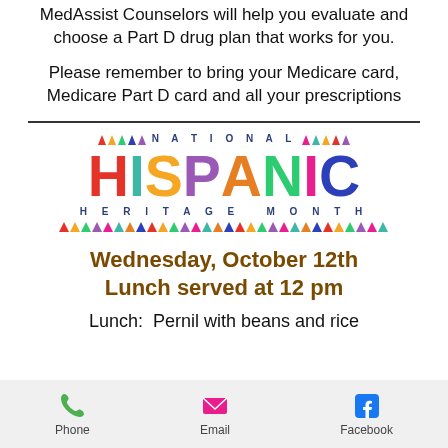MedAssist Counselors will help you evaluate and choose a Part D drug plan that works for you.
Please remember to bring your Medicare card, Medicare Part D card and all your prescriptions
[Figure (logo): National Hispanic Heritage Month logo with colorful large letters HISPANIC and smaller HERITAGE MONTH text, triangle decorations above and below]
Wednesday, October 12th
Lunch served at 12 pm
Lunch:  Pernil with beans and rice
[Figure (infographic): Bottom navigation bar with Phone (green phone icon), Email (pink envelope icon), Facebook (blue F icon)]